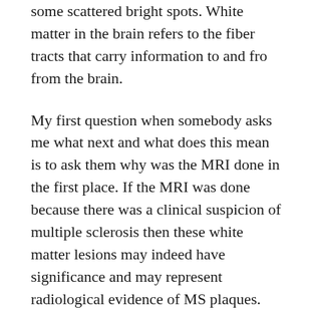some scattered bright spots. White matter in the brain refers to the fiber tracts that carry information to and fro from the brain.
My first question when somebody asks me what next and what does this mean is to ask them why was the MRI done in the first place. If the MRI was done because there was a clinical suspicion of multiple sclerosis then these white matter lesions may indeed have significance and may represent radiological evidence of MS plaques. Let me explain this with an example. You go to your doctor, you have signs and symptoms that suggest MS (example you may have had an attack of optic neuritis), when the doctor examines you he is able to elict signs in the examination compatible with a diagnosis of MS, then he orders an MRI to see if you do have evidence of white matter lesions in the brain. In a case like